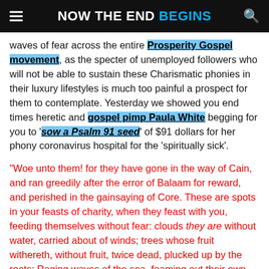NOW THE END BEGINS
waves of fear across the entire Prosperity Gospel movement, as the specter of unemployed followers who will not be able to sustain these Charismatic phonies in their luxury lifestyles is much too painful a prospect for them to contemplate. Yesterday we showed you end times heretic and gospel pimp Paula White begging for you to 'sow a Psalm 91 seed' of $91 dollars for her phony coronavirus hospital for the 'spiritually sick'.
“Woe unto them! for they have gone in the way of Cain, and ran greedily after the error of Balaam for reward, and perished in the gainsaying of Core. These are spots in your feasts of charity, when they feast with you, feeding themselves without fear: clouds they are without water, carried about of winds; trees whose fruit withereth, without fruit, twice dead, plucked up by the roots; Raging waves of the sea, foaming out their own shame;